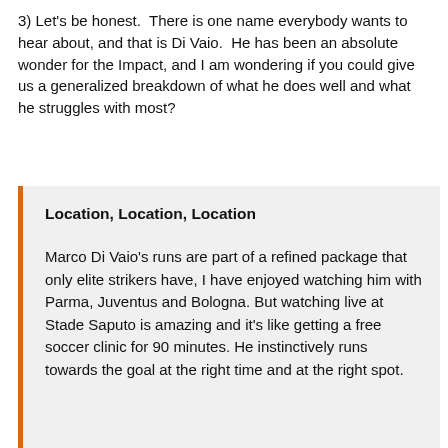3) Let's be honest.  There is one name everybody wants to hear about, and that is Di Vaio.  He has been an absolute wonder for the Impact, and I am wondering if you could give us a generalized breakdown of what he does well and what he struggles with most?
Location, Location, Location
Marco Di Vaio's runs are part of a refined package that only elite strikers have, I have enjoyed watching him with Parma, Juventus and Bologna. But watching live at Stade Saputo is amazing and it's like getting a free soccer clinic for 90 minutes. He instinctively runs towards the goal at the right time and at the right spot.